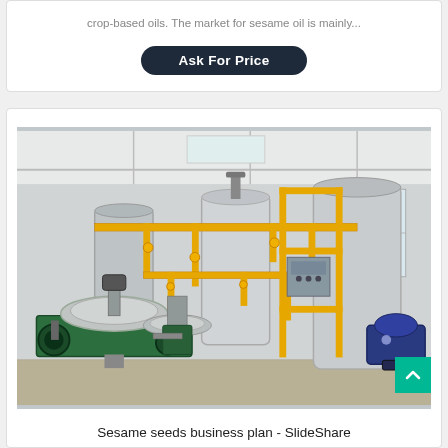crop-based oils. The market for sesame oil is mainly...
Ask For Price
[Figure (photo): Industrial oil processing machinery in a factory setting, including large cylindrical tanks, yellow piping, centrifuge machines in green and silver, and various processing equipment on a polished concrete floor.]
Sesame seeds business plan - SlideShare